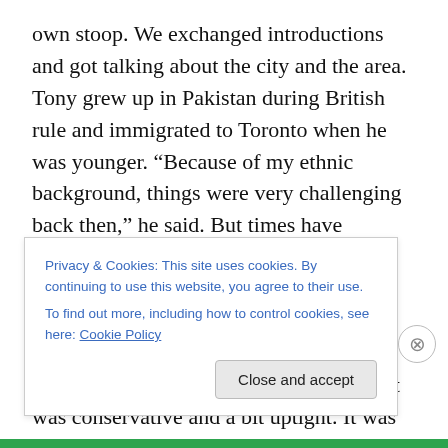own stoop. We exchanged introductions and got talking about the city and the area. Tony grew up in Pakistan during British rule and immigrated to Toronto when he was younger. “Because of my ethnic background, things were very challenging back then,” he said. But times have changed and he and his wife Holly, from Montreal, love their life in Cabbagetown. My sister mentioned that she moved to Toronto 38 years ago from New York. “Back then it felt like a small town, and it was conservative and a bit uptight. It was mostly Scottish, English, and Irish, now there’s an amazing ethnic mix,” she said. Toronto has
Privacy & Cookies: This site uses cookies. By continuing to use this website, you agree to their use.
To find out more, including how to control cookies, see here: Cookie Policy
Close and accept